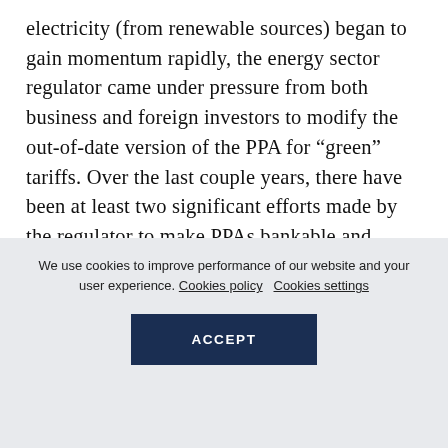electricity (from renewable sources) began to gain momentum rapidly, the energy sector regulator came under pressure from both business and foreign investors to modify the out-of-date version of the PPA for “green” tariffs. Over the last couple years, there have been at least two significant efforts made by the regulator to make PPAs bankable and attractive to investors. Considering certain legislative, political and technical boundaries, the regulator
We use cookies to improve performance of our website and your user experience. Cookies policy   Cookies settings
ACCEPT